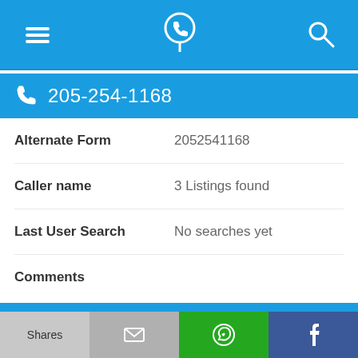Navigation bar with menu, phone locator, and search icons
205-254-1168
| Field | Value |
| --- | --- |
| Alternate Form | 2052541168 |
| Caller name | 3 Listings found |
| Last User Search | No searches yet |
| Comments |  |
205-254-1174
Alternate Form (partial)
Shares | [email] | [WhatsApp] | [Facebook]